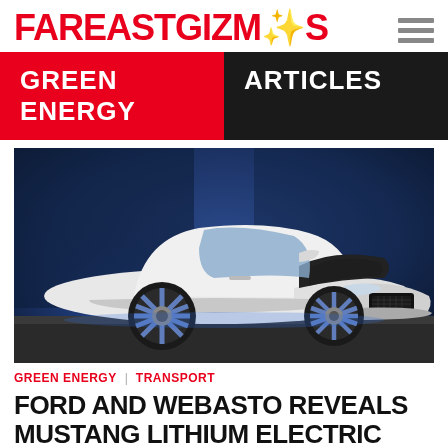FAREASTGIZMOS
GREEN ENERGY  ARTICLES
[Figure (photo): White Ford Mustang Lithium electric muscle car displayed on a platform against a blue-lit dark background, shown from a front three-quarter angle with chrome wheels.]
GREEN ENERGY  |  TRANSPORT
FORD AND WEBASTO REVEALS MUSTANG LITHIUM ELECTRIC MUSCLE CAR